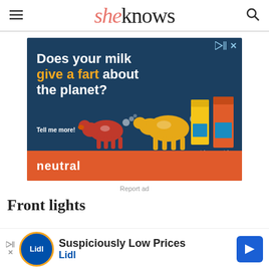sheknows
[Figure (infographic): Advertisement for Neutral milk brand showing two illustrated cows and two milk cartons on a dark blue background with orange bottom strip. Text reads: Does your milk give a fart about the planet? Tell me more! neutral]
Report ad
Front lights
[Figure (infographic): Bottom advertisement bar for Lidl showing Lidl logo, text 'Suspiciously Low Prices' and 'Lidl' with a blue directional arrow icon]